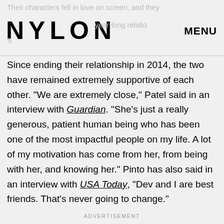NYLON   MENU
Since ending their relationship in 2014, the two have remained extremely supportive of each other. "We are extremely close," Patel said in an interview with Guardian. "She's just a really generous, patient human being who has been one of the most impactful people on my life. A lot of my motivation has come from her, from being with her, and knowing her." Pinto has also said in an interview with USA Today, "Dev and I are best friends. That's never going to change."
ADVERTISEMENT